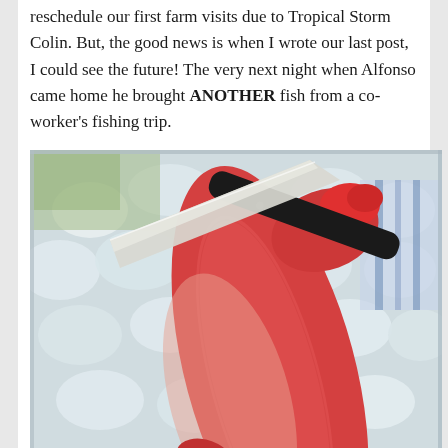reschedule our first farm visits due to Tropical Storm Colin. But, the good news is when I wrote our last post, I could see the future! The very next night when Alfonso came home he brought ANOTHER fish from a co-worker's fishing trip.
[Figure (photo): A red snapper fish on ice in a metal tray, with a large chef's knife with a black handle resting on top. A blue and white striped cloth is visible in the background.]